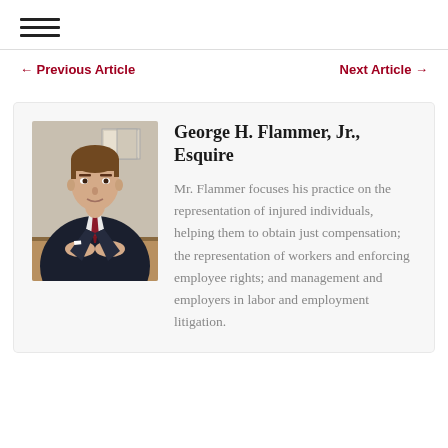☰ (hamburger menu icon)
← Previous Article    Next Article →
[Figure (photo): Professional headshot of George H. Flammer, Jr., Esquire — a young man in a dark suit with a dark red tie, seated at a desk with framed documents on the wall behind him.]
George H. Flammer, Jr., Esquire
Mr. Flammer focuses his practice on the representation of injured individuals, helping them to obtain just compensation; the representation of workers and enforcing employee rights; and management and employers in labor and employment litigation.